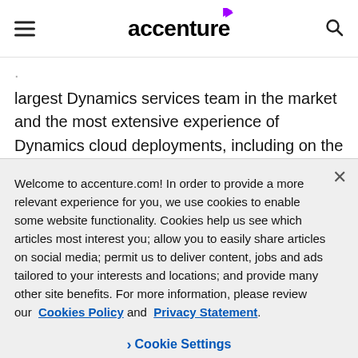accenture (logo with hamburger menu and search icon)
largest Dynamics services team in the market and the most extensive experience of Dynamics cloud deployments, including on the Dynamics 365 platform on Microsoft Azure. Accenture/Avanade has experience with Dynamics deployments ranging from
Welcome to accenture.com! In order to provide a more relevant experience for you, we use cookies to enable some website functionality. Cookies help us see which articles most interest you; allow you to easily share articles on social media; permit us to deliver content, jobs and ads tailored to your interests and locations; and provide many other site benefits. For more information, please review our Cookies Policy and Privacy Statement.
Cookie Settings